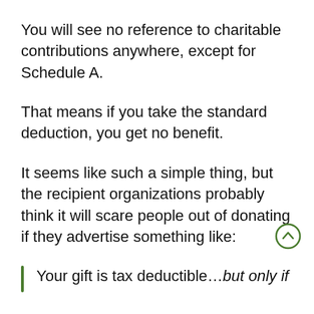You will see no reference to charitable contributions anywhere, except for Schedule A.
That means if you take the standard deduction, you get no benefit.
It seems like such a simple thing, but the recipient organizations probably think it will scare people out of donating if they advertise something like:
Your gift is tax deductible…but only if